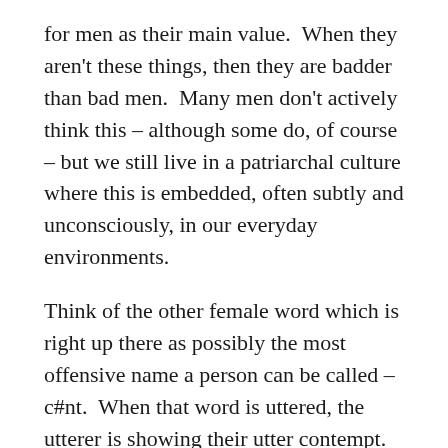for men as their main value.  When they aren't these things, then they are badder than bad men.  Many men don't actively think this – although some do, of course – but we still live in a patriarchal culture where this is embedded, often subtly and unconsciously, in our everyday environments.
Think of the other female word which is right up there as possibly the most offensive name a person can be called – c#nt.  When that word is uttered, the utterer is showing their utter contempt.  Like the word 'bitch' it can be spat out with force and ferocity, often assisted by an evil gargoyle face made by the spitter to help with its delivery.  They just seem to beg to go together – the worst curse and a gargoyle face.  I've got nothing